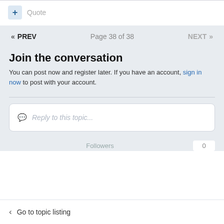+ Quote
« PREV   Page 38 of 38   NEXT »
Join the conversation
You can post now and register later. If you have an account, sign in now to post with your account.
Reply to this topic...
Followers   0
< Go to topic listing